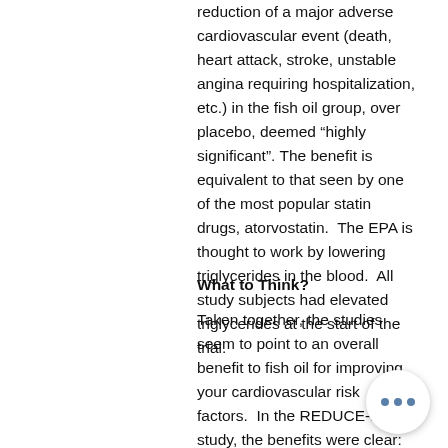reduction of a major adverse cardiovascular event (death, heart attack, stroke, unstable angina requiring hospitalization, etc.) in the fish oil group, over placebo, deemed “highly significant”. The benefit is equivalent to that seen by one of the most popular statin drugs, atorvostatin. The EPA is thought to work by lowering triglycerides in the blood. All study subjects had elevated triglycerides at the start of the trial.
What to Think?
Taken together, the studies seem to point to an overall benefit to fish oil for improving your cardiovascular risk factors. In the REDUCE-IT study, the benefits were clear: taking high dose EPA (4g per day) will help prevent heart a… or stroke. In the VITAL study, the benefit… less clear, but the fish oil dose was also far less